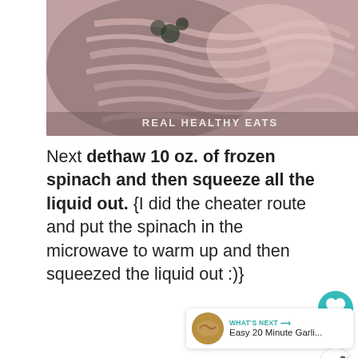[Figure (photo): Close-up photo of raw ground meat in a metal bowl, with a watermark reading 'REAL HEALTHY EATS' in the lower right corner.]
Next dethaw 10 oz. of frozen spinach and then squeeze all the liquid out. {I did the cheater route and put the spinach in the microwave to warm up and then squeezed the liquid out :)}